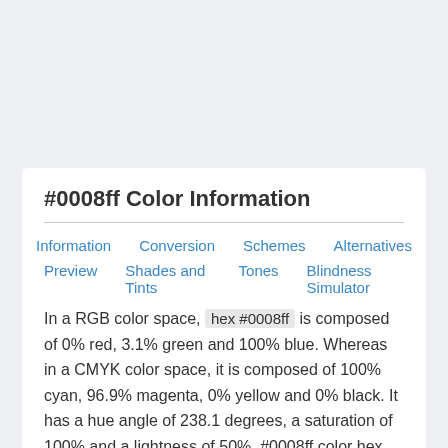#0008ff Color Information
Information
Conversion
Schemes
Alternatives
Preview
Shades and Tints
Tones
Blindness Simulator
In a RGB color space, hex #0008ff is composed of 0% red, 3.1% green and 100% blue. Whereas in a CMYK color space, it is composed of 100% cyan, 96.9% magenta, 0% yellow and 0% black. It has a hue angle of 238.1 degrees, a saturation of 100% and a lightness of 50%. #0008ff color hex could be obtained by blending #0010ff